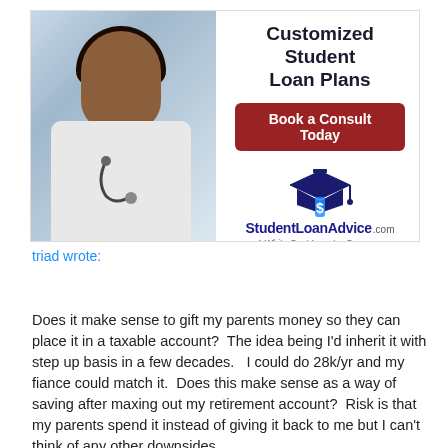[Figure (photo): Advertisement banner for StudentLoanAdvice.com showing a Black female doctor in white coat with stethoscope on the left, and on the right: headline 'Customized Student Loan Plans', a dark red 'Book a Consult Today' button, the StudentLoanAdvice.com logo with graduation cap icon, and tagline 'A White Coat Investor Company']
triad wrote:
Does it make sense to gift my parents money so they can place it in a taxable account?  The idea being I'd inherit it with step up basis in a few decades.   I could do 28k/yr and my fiance could match it.  Does this make sense as a way of saving after maxing out my retirement account?  Risk is that my parents spend it instead of giving it back to me but I can't think of any other downsides.
Click to expand...